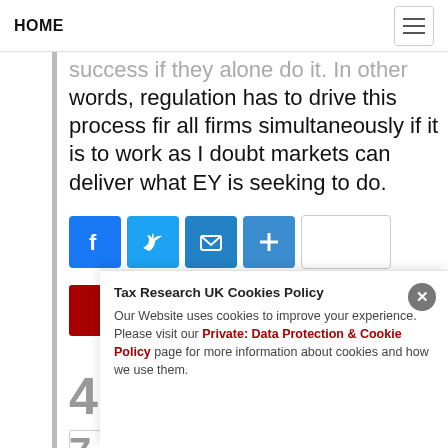HOME
success if they alone do it. In other words, regulation has to drive this process fir all firms simultaneously if it is to work as I doubt markets can deliver what EY is seeking to do.
[Figure (infographic): Social share buttons: Facebook (blue), Twitter (blue), Email (blue), Plus/Share (blue), and one blank white button]
[Figure (infographic): Red Donate button]
4 Responses
7
[Figure (screenshot): Cookie consent banner overlay: Tax Research UK Cookies Policy. Our Website uses cookies to improve your experience. Please visit our Private: Data Protection & Cookie Policy page for more information about cookies and how we use them. Close button (×) in top right.]